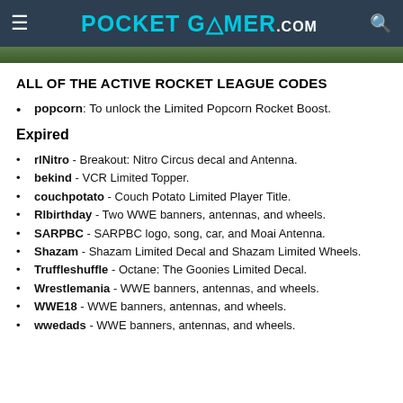POCKET GAMER .com
ALL OF THE ACTIVE ROCKET LEAGUE CODES
popcorn: To unlock the Limited Popcorn Rocket Boost.
Expired
rlNitro - Breakout: Nitro Circus decal and Antenna.
bekind - VCR Limited Topper.
couchpotato - Couch Potato Limited Player Title.
Rlbirthday - Two WWE banners, antennas, and wheels.
SARPBC - SARPBC logo, song, car, and Moai Antenna.
Shazam - Shazam Limited Decal and Shazam Limited Wheels.
Truffleshuffle - Octane: The Goonies Limited Decal.
Wrestlemania - WWE banners, antennas, and wheels.
WWE18 - WWE banners, antennas, and wheels.
wwedads - WWE banners, antennas, and wheels.